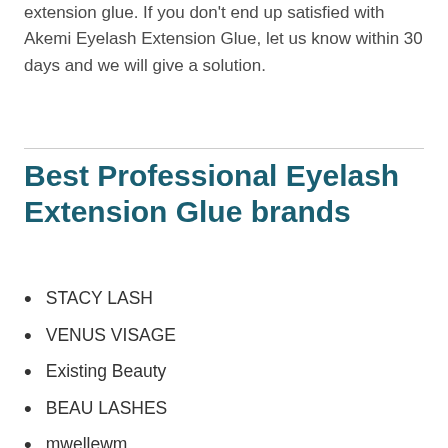extension glue. If you don't end up satisfied with Akemi Eyelash Extension Glue, let us know within 30 days and we will give a solution.
Best Professional Eyelash Extension Glue brands
STACY LASH
VENUS VISAGE
Existing Beauty
BEAU LASHES
mwellewm
NXJ INFILILA